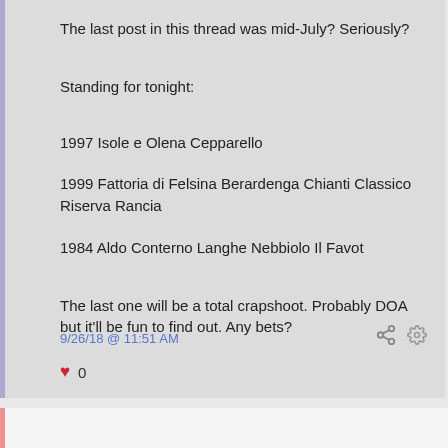The last post in this thread was mid-July? Seriously?
Standing for tonight:
1997 Isole e Olena Cepparello
1999 Fattoria di Felsina Berardenga Chianti Classico Riserva Rancia
1984 Aldo Conterno Langhe Nebbiolo Il Favot
The last one will be a total crapshoot. Probably DOA but it'll be fun to find out. Any bets?
9/26/18 @ 11:51 AM
♥ 0